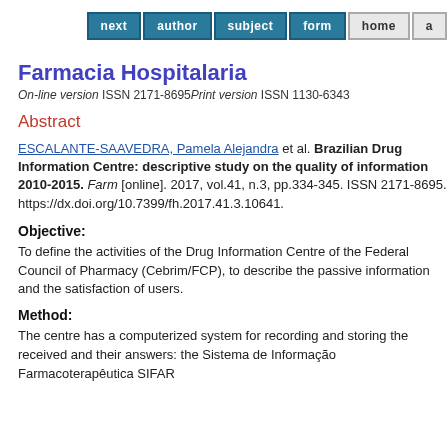next | author | subject | form | home | a
Farmacia Hospitalaria
On-line version ISSN 2171-8695Print version ISSN 1130-6343
Abstract
ESCALANTE-SAAVEDRA, Pamela Alejandra et al. Brazilian Drug Information Centre: descriptive study on the quality of information 2010-2015. Farm [online]. 2017, vol.41, n.3, pp.334-345. ISSN 2171-8695. https://dx.doi.org/10.7399/fh.2017.41.3.10641.
Objective:
To define the activities of the Drug Information Centre of the Federal Council of Pharmacy (Cebrim/FCP), to describe the passive information and the satisfaction of users.
Method:
The centre has a computerized system for recording and storing the received and their answers: the Sistema de Informação Farmacoterapêutica SIFAR